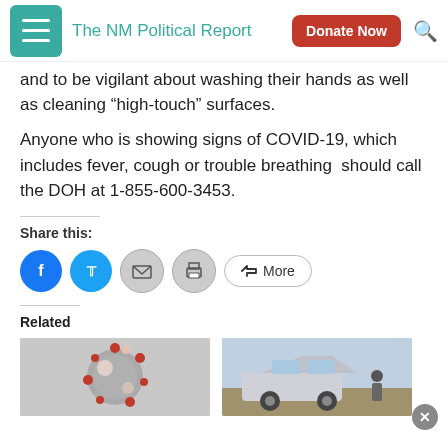The NM Political Report | Donate Now
and to be vigilant about washing their hands as well as cleaning “high-touch” surfaces.
Anyone who is showing signs of COVID-19, which includes fever, cough or trouble breathing  should call the DOH at 1-855-600-3453.
Share this:
[Figure (infographic): Social sharing buttons: Facebook (blue circle), Twitter (blue circle), Email (grey circle), Print (grey circle), and a More button with share icon]
Related
[Figure (photo): Two related article thumbnail images side by side: left shows a coronavirus particle (red/grey microscope image), right shows a car with a person near it outdoors]